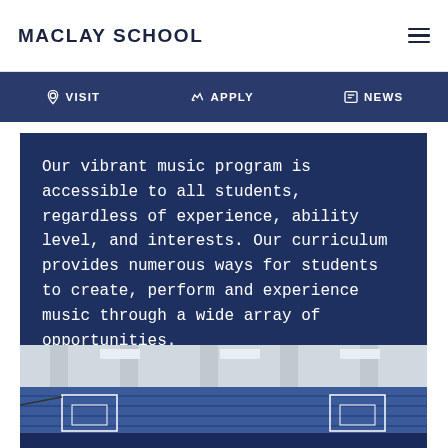MACLAY SCHOOL
VISIT  APPLY  NEWS
Our vibrant music program is accessible to all students, regardless of experience, ability level, and interests. Our curriculum provides numerous ways for students to create, perform and experience music through a wide array of opportunities.
[Figure (photo): Interior of a school gymnasium with bleachers and basketball hoops, students visible in the lower portion]